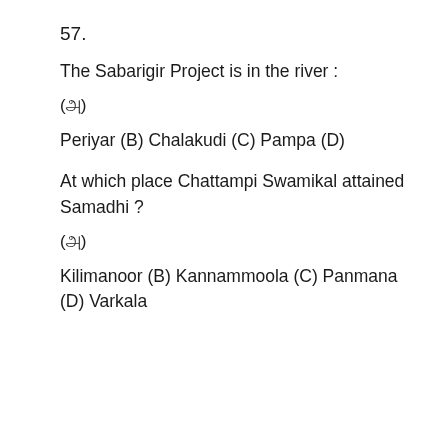57.
The Sabarigir Project is in the river :
(அ)
Periyar (B) Chalakudi (C) Pampa (D)
At which place Chattampi Swamikal attained Samadhi ?
(அ)
Kilimanoor (B) Kannammoola (C) Panmana (D) Varkala